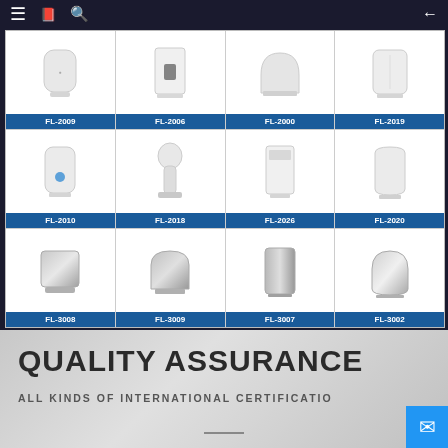Navigation bar with menu, bookmark, search, and back icons
[Figure (photo): Product catalog grid showing 12 hand dryer models in 3 rows of 4: FL-2009, FL-2006, FL-2000, FL-2019 (row 1 - white plastic dryers), FL-2010, FL-2018, FL-2026, FL-2020 (row 2 - white plastic dryers), FL-3008, FL-3009, FL-3007, FL-3002 (row 3 - stainless steel dryers)]
QUALITY ASSURANCE
ALL KINDS OF INTERNATIONAL CERTIFICATION